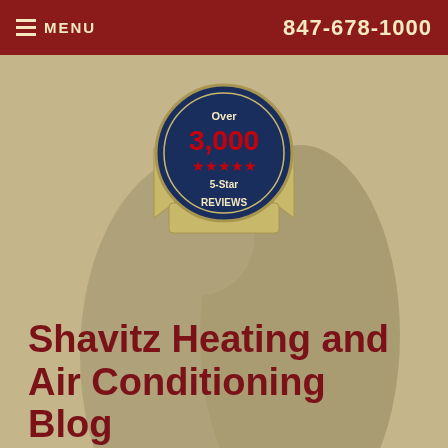≡ MENU    847-678-1000
[Figure (logo): Circular badge with 'Over 3,000 ★★★★★ 5-Star REVIEWS' text on a navy blue and cream ribbon badge]
Shavitz Heating and Air Conditioning Blog
« Furnace Noises that You Need to be Aware of
Household Problems Linked to Damaged Ductwork »
[Figure (logo): Google reCAPTCHA widget with recycling arrow icon, Privacy and Terms links]